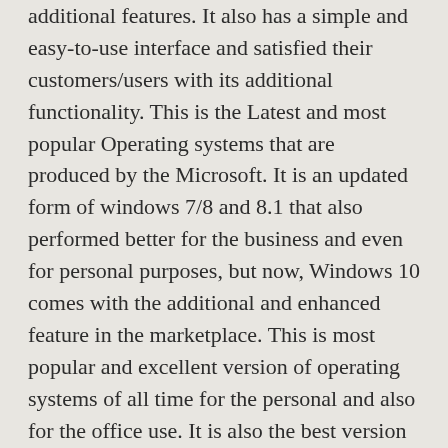additional features. It also has a simple and easy-to-use interface and satisfied their customers/users with its additional functionality. This is the Latest and most popular Operating systems that are produced by the Microsoft. It is an updated form of windows 7/8 and 8.1 that also performed better for the business and even for personal purposes, but now, Windows 10 comes with the additional and enhanced feature in the marketplace. This is most popular and excellent version of operating systems of all time for the personal and also for the office use. It is also the best version for the gamers.
Windows 10 Product Key Generator
Windows 10 Product Key Generator is a well-known software that is used for activating Windows 10 Pro, Home, Enterprise, and many other editions that have